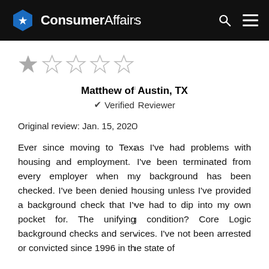ConsumerAffairs
[Figure (other): 1 out of 5 stars rating — one filled star and four empty stars]
Matthew of Austin, TX
✔ Verified Reviewer
Original review: Jan. 15, 2020
Ever since moving to Texas I've had problems with housing and employment. I've been terminated from every employer when my background has been checked. I've been denied housing unless I've provided a background check that I've had to dip into my own pocket for. The unifying condition? Core Logic background checks and services. I've not been arrested or convicted since 1996 in the state of